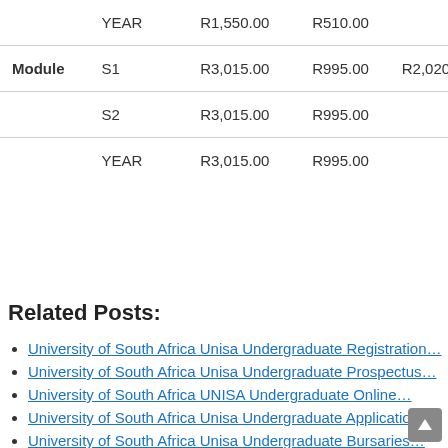| Module | Period | Fee 1 | Fee 2 | Fee 3 |
| --- | --- | --- | --- | --- |
|  | YEAR | R1,550.00 | R510.00 |  |
| Module | S1 | R3,015.00 | R995.00 | R2,020.00 |
|  | S2 | R3,015.00 | R995.00 |  |
|  | YEAR | R3,015.00 | R995.00 |  |
Related Posts:
University of South Africa Unisa Undergraduate Registration…
University of South Africa Unisa Undergraduate Prospectus…
University of South Africa UNISA Undergraduate Online…
University of South Africa Unisa Undergraduate Application…
University of South Africa Unisa Undergraduate Bursaries…
University of South Africa Unisa Registration Fees 2022 –…